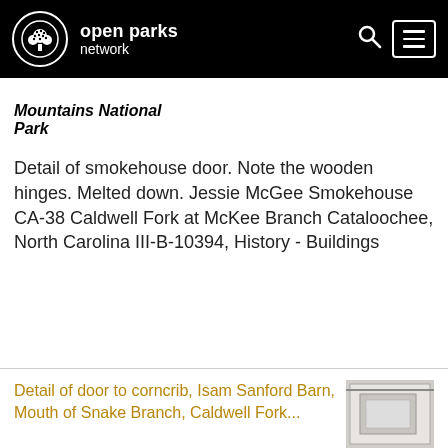open parks network
Mountains National Park
Detail of smokehouse door. Note the wooden hinges. Melted down. Jessie McGee Smokehouse CA-38 Caldwell Fork at McKee Branch Cataloochee, North Carolina III-B-10394, History - Buildings
Detail of door to corncrib, Isam Sanford Barn, Mouth of Snake Branch, Caldwell Fork...